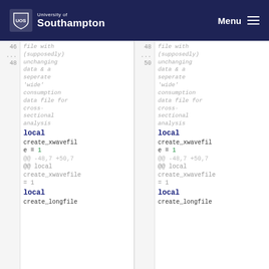University of Southampton | Menu
file with (supposedly) unchanging data & a seperate 'wide' consumption data file for cross-sectional analysis (left column, italic gray)
file with (supposedly) unchanging data & a seperate 'wide' consumption data file for cross-sectional analysis (right column, italic gray)
46  local create_xwavefile = 1
48  local create_xwavefile = 1
...  @@ -48,7 +50,7  ...
...  @@ -48,7 +50,7  ...
@@ local create_xwavefile = 1
@@ local create_xwavefile = 1
48  local create_longfile
50  local create_longfile